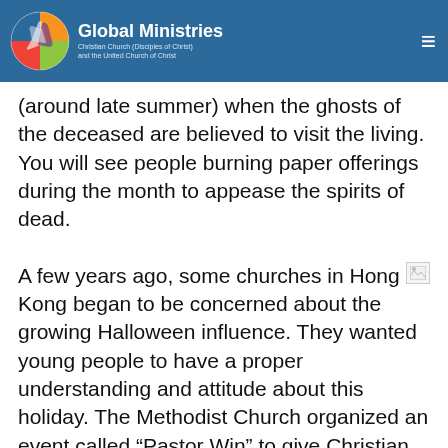Global Ministries — Christian Church (Disciples of Christ) and the United Church of Christ
(around late summer) when the ghosts of the deceased are believed to visit the living. You will see people burning paper offerings during the month to appease the spirits of dead.
A few years ago, some churches in Hong Kong began to be concerned about the growing Halloween influence. They wanted young people to have a proper understanding and attitude about this holiday. The Methodist Church organized an event called “Pastor Win” to give Christian families an alternative to secular Halloween parties. Over 2000 people